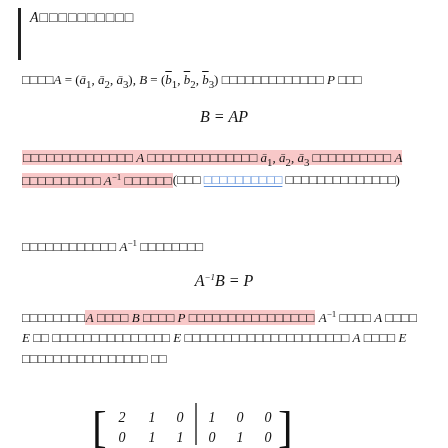A（基底変換）
行列A = (a1, a2, a3), B = (b1, b2, b3) を基底とする P とする
（基底変換行列）A の基底を a1, a2, a3 として A の逆行列 A^{-1} が存在する（詳細 基底変換行列 を参照してください）
両辺に A^{-1} をかけると
ここで A を B に かける P を求めるには A^{-1} と A かけて E に なるように E を掃き出し法で求める A と E を並べてガウス消去法で
[Figure (math-figure): Augmented matrix [A|E] with entries: row1: 2,1,0 | 1,0,0; row2: 0,1,1 | 0,1,0]